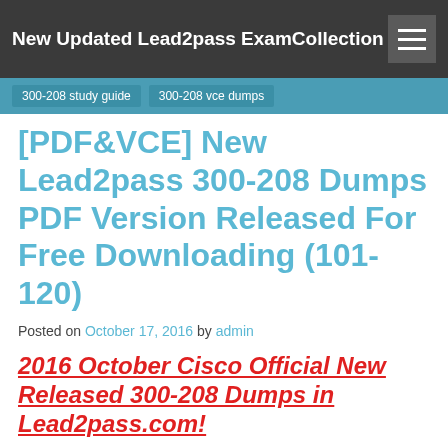New Updated Lead2pass ExamCollection
300-208 study guide
300-208 vce dumps
[PDF&VCE] New Lead2pass 300-208 Dumps PDF Version Released For Free Downloading (101-120)
Posted on October 17, 2016 by admin
2016 October Cisco Official New Released 300-208 Dumps in Lead2pass.com!